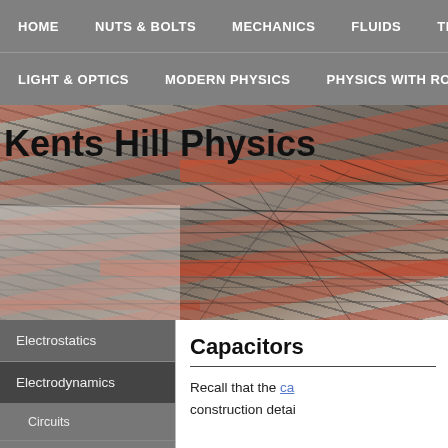HOME | NUTS & BOLTS | MECHANICS | FLUIDS | THER | LIGHT & OPTICS | MODERN PHYSICS | PHYSICS WITH ROCKETS
Kents Hill Physics
[Figure (photo): Background photo of tangled electrical wires and cables on utility poles, with orange/red horizontal elements]
Electrostatics
Electrodynamics
Circuits
Electrical Resistance
Capacitors
Recall that the ca construction detai